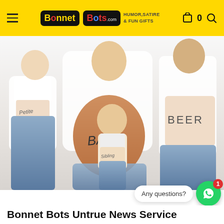Bonnet Bots – HUMOR, SATIRE & FUN GIFTS
[Figure (photo): Family pregnancy announcement photo: a little girl, a pregnant woman (belly labeled BABY), a toddler boy, and a man (belly labeled BEER), all lifting their shirts to show their stomachs with handwritten labels.]
Any questions?
Bonnet Bots Untrue News Service